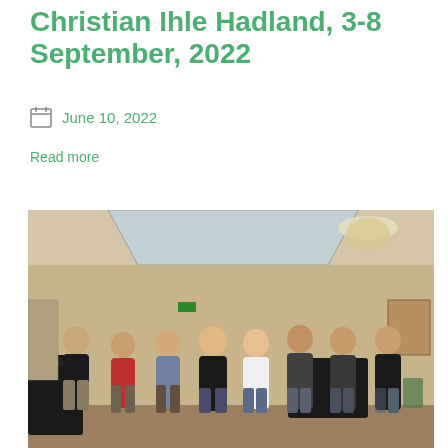Christian Ihle Hadland, 3-8 September, 2022
June 10, 2022
Read more
[Figure (photo): Group photo of seven people standing together in an elegant concert hall or music room with a grand piano, chandelier, and paintings on the walls. The group appears to be participants or instructors of a masterclass.]